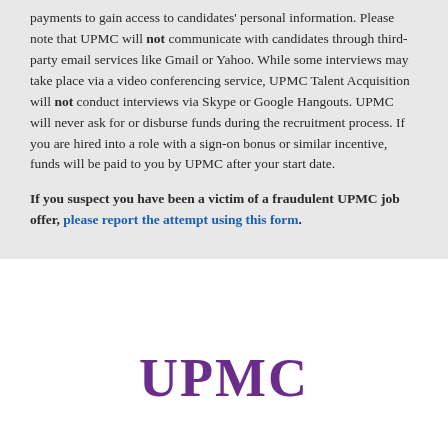payments to gain access to candidates' personal information. Please note that UPMC will not communicate with candidates through third-party email services like Gmail or Yahoo. While some interviews may take place via a video conferencing service, UPMC Talent Acquisition will not conduct interviews via Skype or Google Hangouts. UPMC will never ask for or disburse funds during the recruitment process. If you are hired into a role with a sign-on bonus or similar incentive, funds will be paid to you by UPMC after your start date.
If you suspect you have been a victim of a fraudulent UPMC job offer, please report the attempt using this form.
[Figure (logo): UPMC logo text in purple at the bottom of the page]